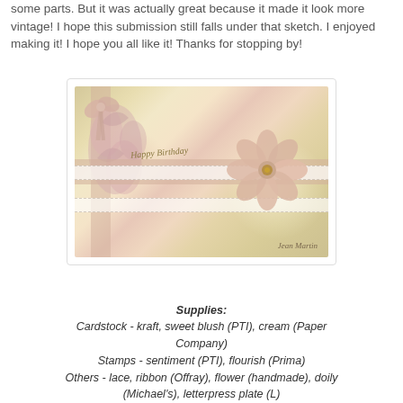some parts. But it was actually great because it made it look more vintage! I hope this submission still falls under that sketch. I enjoyed making it! I hope you all like it! Thanks for stopping by!
[Figure (photo): A handmade birthday card with vintage styling: kraft cardstock base, cream and pink layered papers, white lace strips, pink ribbon, a large peach/blush handmade fabric flower with yellow center, pink floral flourish stamp on left side, bow at top left, 'Happy Birthday' sentiment in gold, signed 'Jean Martin' at bottom right.]
Supplies:
Cardstock - kraft, sweet blush (PTI), cream (Paper Company)
Stamps - sentiment (PTI), flourish (Prima)
Others - lace, ribbon (Offray), flower (handmade), doily (Michael's), letterpress plate (L)